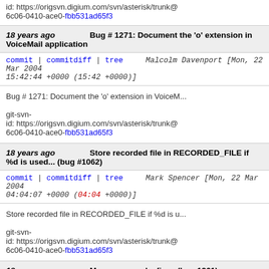id: https://origsvn.digium.com/svn/asterisk/trunk@ 6c06-0410-ace0-fbb531ad65f3
18 years ago   Bug # 1271: Document the 'o' extension in VoiceMail application
commit | commitdiff | tree   Malcolm Davenport [Mon, 22 Mar 2004 15:42:44 +0000 (15:42 +0000)]
Bug # 1271: Document the 'o' extension in VoiceM...

git-svn-id: https://origsvn.digium.com/svn/asterisk/trunk@ 6c06-0410-ace0-fbb531ad65f3
18 years ago   Store recorded file in RECORDED_FILE if %d is used... (bug #1062)
commit | commitdiff | tree   Mark Spencer [Mon, 22 Mar 2004 04:04:07 +0000 (04:04 +0000)]
Store recorded file in RECORDED_FILE if %d is u...

git-svn-id: https://origsvn.digium.com/svn/asterisk/trunk@ 6c06-0410-ace0-fbb531ad65f3
18 years ago   More app_read.c fixes (bug 1261)